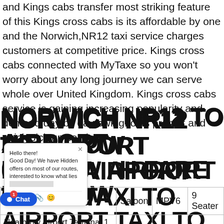and Kings cabs transfer most striking feature of this Kings cross cabs is its affordable by one and the Norwich,NR12 taxi service charges customers at competitive price. Kings cross cabs connected with MyTaxe so you won't worry about any long journey we can serve whole over United Kingdom. Kings cross cabs service is gaining increasing popularity and demand day by day owing to its prompt and quick pick up service
NORWICH NR12 TO AIRPORT CABS
HEATHROW AIRPORT TAXI TO NORWICH FARE GUIDE
| Heathrow Airport To | Saloon | MPV6 | 9 Seater |
| --- | --- | --- | --- |
| Heathrow Airport To | Saloon | MPV6 | 9 Seater |
| Heathrow Airport Terminal 1 to... | £15 | £20 | £0 |